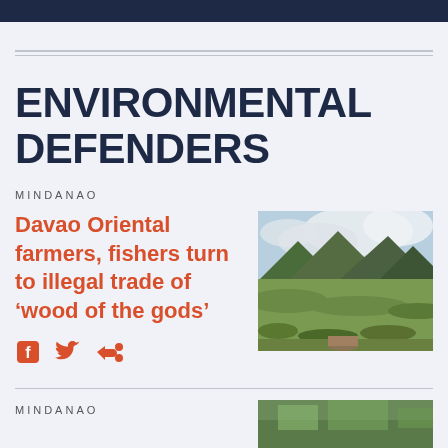ENVIRONMENTAL DEFENDERS
MINDANAO
Davao Oriental farmers, fishers turn to illegal trade of 'wood of the gods'
[Figure (photo): Mountain landscape with green rolling hills and cloudy sky, likely Davao Oriental, Philippines]
MINDANAO